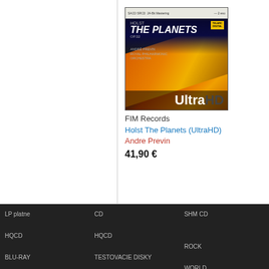[Figure (photo): Album cover for Holst The Planets UltraHD by FIM Records, showing planets in space with orange/red colors and UltraHD logo at the bottom]
FIM Records
Holst The Planets (UltraHD)
Andre Previn
41,90 €
LP platne
CD
SHM CD
Tento web používa na poskytovanie služieb, personalizáciu reklám a analýzu návštevnosti súbory cookie.
Súhlasíte s ich uložením? Viac informácií
HQCD
HQCD
BLU-RAY
TESTOVACIE DISKY
ROCK
WORLD
Súhlasím
SK A CR tituly
Podpisané tituly